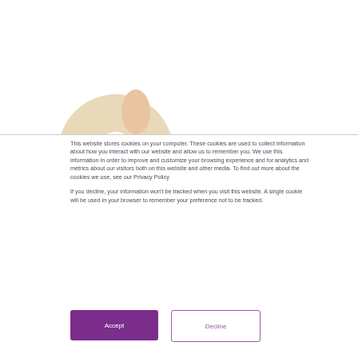[Figure (photo): Partial view of a cookie/donut shaped object (cookie image) visible at top, partially cut off]
This website stores cookies on your computer. These cookies are used to collect information about how you interact with our website and allow us to remember you. We use this information in order to improve and customize your browsing experience and for analytics and metrics about our visitors both on this website and other media. To find out more about the cookies we use, see our Privacy Policy

If you decline, your information won't be tracked when you visit this website. A single cookie will be used in your browser to remember your preference not to be tracked.
Accept
Decline